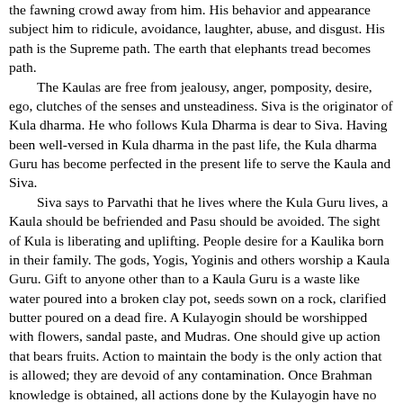the fawning crowd away from him. His behavior and appearance subject him to ridicule, avoidance, laughter, abuse, and disgust. His path is the Supreme path. The earth that elephants tread becomes path.
The Kaulas are free from jealousy, anger, pomposity, desire, ego, clutches of the senses and unsteadiness. Siva is the originator of Kula dharma. He who follows Kula Dharma is dear to Siva. Having been well-versed in Kula dharma in the past life, the Kula dharma Guru has become perfected in the present life to serve the Kaula and Siva.
Siva says to Parvathi that he lives where the Kula Guru lives, a Kaula should be befriended and Pasu should be avoided. The sight of Kula is liberating and uplifting. People desire for a Kaulika born in their family. The gods, Yogis, Yoginis and others worship a Kaula Guru. Gift to anyone other than to a Kaula Guru is a waste like water poured into a broken clay pot, seeds sown on a rock, clarified butter poured on a dead fire. A Kulayogin should be worshipped with flowers, sandal paste, and Mudras. One should give up action that bears fruits. Action to maintain the body is the only action that is allowed; they are devoid of any contamination. Once Brahman knowledge is obtained, all actions done by the Kulayogin have no effect; it is like the water running off the lotus leaf (it does not stick).
Worship: The life of a Kaula is centered on worship or Puja. Worship is done daily, fortnightly, and monthly; rituals for these are Dailies, festivals, and Guru's birthday, lunar days, gifts...